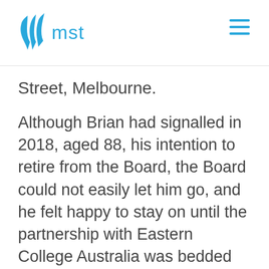mst
Street, Melbourne.
Although Brian had signalled in 2018, aged 88, his intention to retire from the Board, the Board could not easily let him go, and he felt happy to stay on until the partnership with Eastern College Australia was bedded down. Brian has had his wish fulfilled, by the